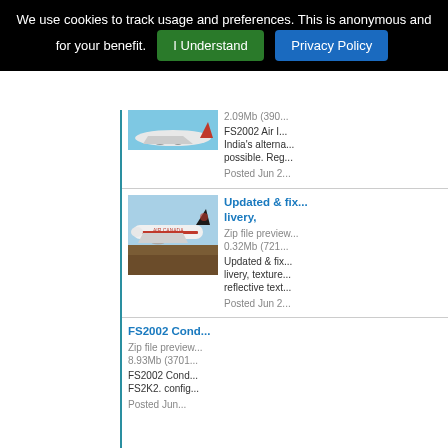We use cookies to track usage and preferences. This is anonymous and for your benefit. [I Understand] [Privacy Policy]
[Figure (photo): Aircraft (Air India livery large jet) in flight against blue sky, partially visible at top]
2.09Mb (390...
FS2002 Air I... India's altern... possible. Reg...
Posted Jun 2...
[Figure (photo): Air Canada Boeing 777 in white and red livery on ground with dark terrain background]
Updated & fix... livery,
Zip file preview... 0.32Mb (721...
Updated & fix... livery, texture... reflective text...
Posted Jun 2...
FS2002 Cond...
Zip file preview... 8.93Mb (3701...
FS2002 Cond... FS2K2. config...
Posted Jun...